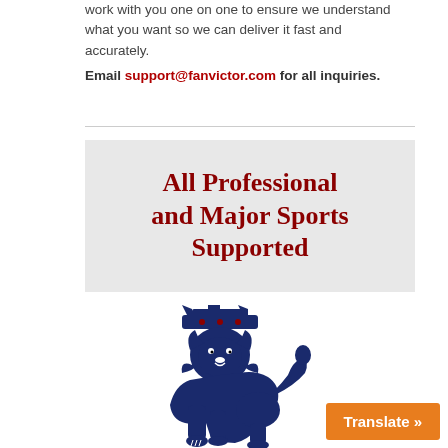work with you one on one to ensure we understand what you want so we can deliver it fast and accurately.
Email support@fanvictor.com for all inquiries.
[Figure (illustration): Gray banner box with bold dark red text reading 'All Professional and Major Sports Supported']
[Figure (logo): Premier League lion logo in dark navy blue — a crowned lion standing on its hind legs with a curled tail]
Translate »